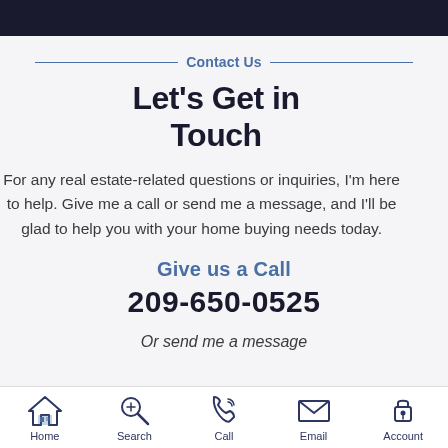Contact Us
Let's Get in Touch
For any real estate-related questions or inquiries, I'm here to help. Give me a call or send me a message, and I'll be glad to help you with your home buying needs today.
Give us a Call
209-650-0525
Or send me a message
Home  Search  Call  Email  Account